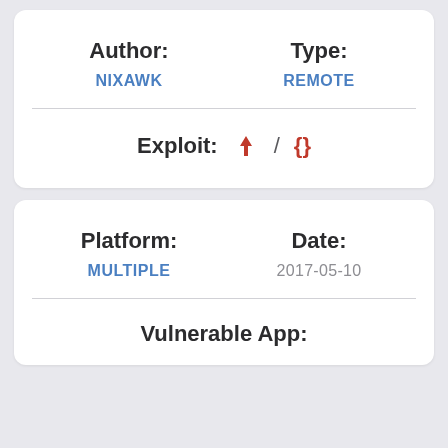Author: NIXAWK
Type: REMOTE
Exploit: ⬇ / {}
Platform: MULTIPLE
Date: 2017-05-10
Vulnerable App: